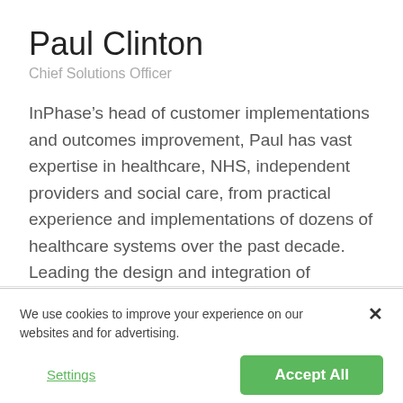Paul Clinton
Chief Solutions Officer
InPhase’s head of customer implementations and outcomes improvement, Paul has vast expertise in healthcare, NHS, independent providers and social care, from practical experience and implementations of dozens of healthcare systems over the past decade. Leading the design and integration of solutions today using the InPhase suite with unparalleled knowledge.
We use cookies to improve your experience on our websites and for advertising.
Settings
Accept All